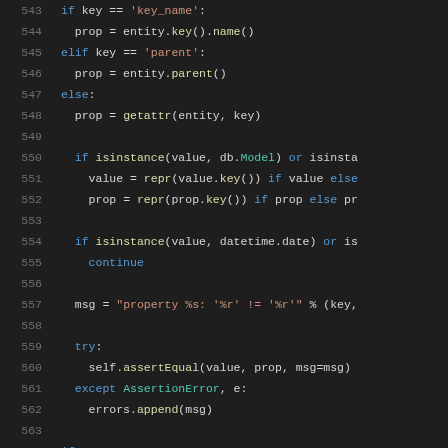Python source code lines 543-564 showing conditional property assignment and assertion logic